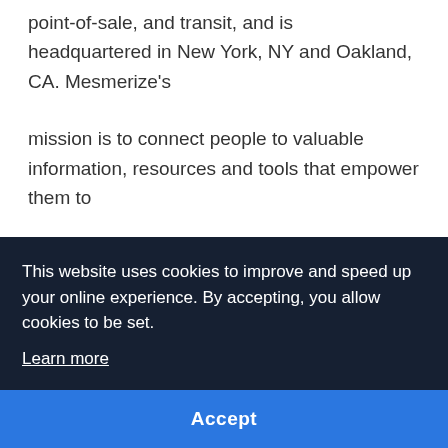point-of-sale, and transit, and is headquartered in New York, NY and Oakland, CA. Mesmerize's
mission is to connect people to valuable information, resources and tools that empower them to
proactively manage their health and improve their sense of well-being. For over a decade, Mesmerize
...uding
[Figure (screenshot): Cookie consent banner overlay with dark navy background reading: 'This website uses cookies to improve and speed up your online experience. By accepting, you allow cookies to be set. Learn more' with a blue Accept button at the bottom.]
...ooms,